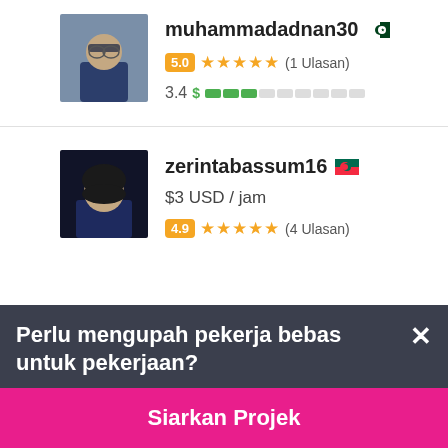[Figure (photo): Profile photo of muhammadadnan30, man in suit with glasses]
muhammadadnan30 🇵🇰
5.0 ★★★★★ (1 Ulasan)
3.4 $ ▓▓▒▒▒▒▒▒▒
[Figure (photo): Profile photo of zerintabassum16, woman]
zerintabassum16 🇧🇩
$3 USD / jam
4.9 ★★★★★ (4 Ulasan)
Perlu mengupah pekerja bebas untuk pekerjaan?
Siarkan Projek